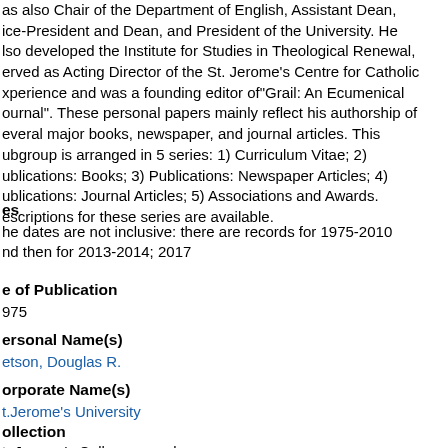was also Chair of the Department of English, Assistant Dean, Vice-President and Dean, and President of the University. He also developed the Institute for Studies in Theological Renewal, served as Acting Director of the St. Jerome's Centre for Catholic Experience and was a founding editor of"Grail: An Ecumenical Journal". These personal papers mainly reflect his authorship of several major books, newspaper, and journal articles. This subgroup is arranged in 5 series: 1) Curriculum Vitae; 2) Publications: Books; 3) Publications: Newspaper Articles; 4) Publications: Journal Articles; 5) Associations and Awards. Descriptions for these series are available.
es
he dates are not inclusive: there are records for 1975-2010 and then for 2013-2014; 2017
e of Publication
975
ersonal Name(s)
etson, Douglas R.
orporate Name(s)
t.Jerome's University
ollection
t. Jerome's College records